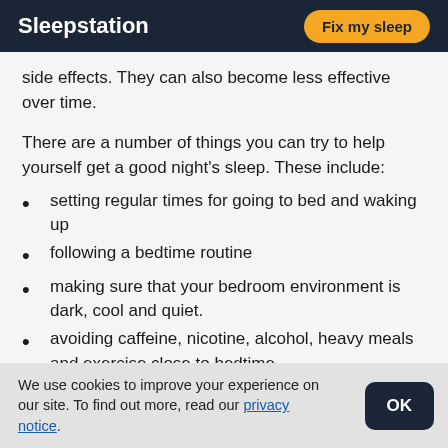Sleepstation | Fix my sleep
side effects. They can also become less effective over time.
There are a number of things you can try to help yourself get a good night's sleep. These include:
setting regular times for going to bed and waking up
following a bedtime routine
making sure that your bedroom environment is dark, cool and quiet.
avoiding caffeine, nicotine, alcohol, heavy meals and exercise close to bedtime
We use cookies to improve your experience on our site. To find out more, read our privacy notice.